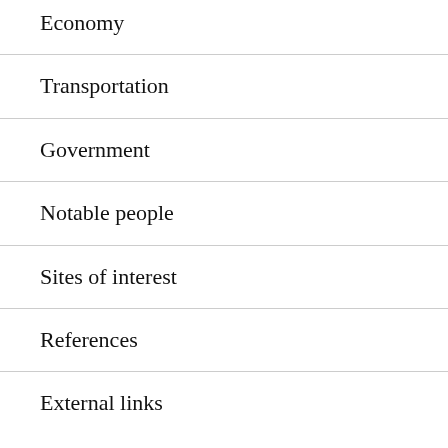Economy
Transportation
Government
Notable people
Sites of interest
References
External links